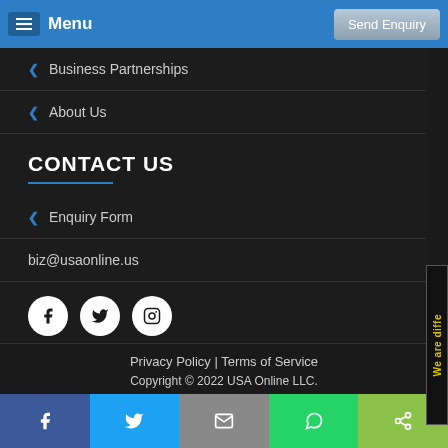Menu | Send Enquiry
Business Partnerships
About Us
CONTACT US
Enquiry Form
biz@usaonline.us
[Figure (other): Social media icons: Facebook, Twitter, Instagram]
Privacy Policy | Terms of Service
Copyright © 2022 USA Online LLC.
Facebook share | Twitter share | Email | WhatsApp | Share